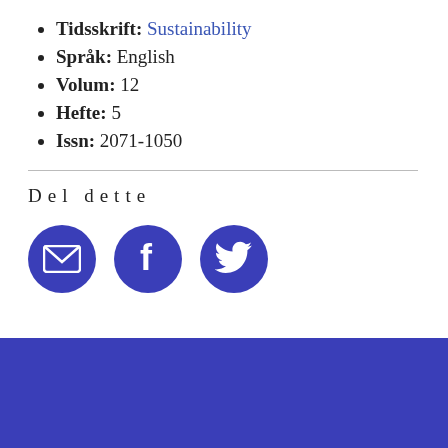Tidsskrift: Sustainability
Språk: English
Volum: 12
Hefte: 5
Issn: 2071-1050
Del dette
[Figure (infographic): Three circular social sharing buttons: email (envelope icon), Facebook (f icon), and Twitter (bird icon), all in blue circles. Below is a solid blue footer bar.]